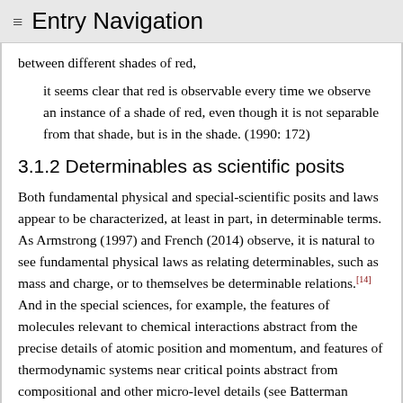≡ Entry Navigation
between different shades of red,
it seems clear that red is observable every time we observe an instance of a shade of red, even though it is not separable from that shade, but is in the shade. (1990: 172)
3.1.2 Determinables as scientific posits
Both fundamental physical and special-scientific posits and laws appear to be characterized, at least in part, in determinable terms. As Armstrong (1997) and French (2014) observe, it is natural to see fundamental physical laws as relating determinables, such as mass and charge, or to themselves be determinable relations.[14] And in the special sciences, for example, the features of molecules relevant to chemical interactions abstract from the precise details of atomic position and momentum, and features of thermodynamic systems near critical points abstract from compositional and other micro-level details (see Batterman 1998). More generally, the posit of existing